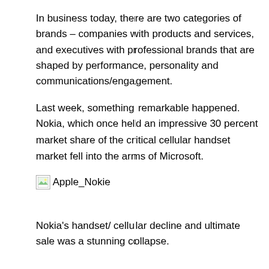In business today, there are two categories of brands – companies with products and services, and executives with professional brands that are shaped by performance, personality and communications/engagement.
Last week, something remarkable happened. Nokia, which once held an impressive 30 percent market share of the critical cellular handset market fell into the arms of Microsoft.
[Figure (other): Broken image placeholder labeled Apple_Nokie]
Nokia's handset/ cellular decline and ultimate sale was a stunning collapse.